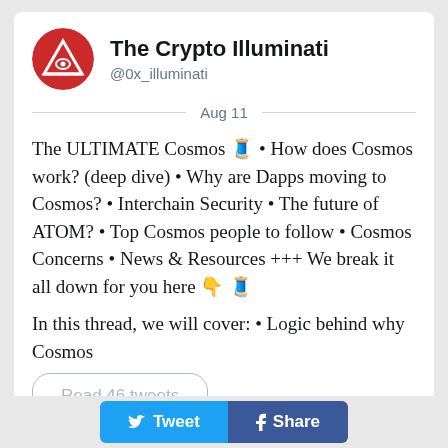The Crypto Illuminati @0x_illuminati
Aug 11
The ULTIMATE Cosmos 🧵 • How does Cosmos work? (deep dive) • Why are Dapps moving to Cosmos? • Interchain Security • The future of ATOM? • Top Cosmos people to follow • Cosmos Concerns • News & Resources +++ We break it all down for you here 👇 🧵
In this thread, we will cover: • Logic behind why Cosmos
Read 46 tweets
[Figure (screenshot): Partial second tweet card visible at bottom]
Tweet   Share